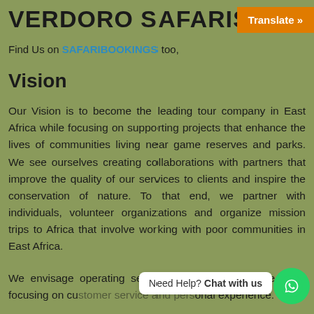VERDORO SAFARIS UGA...
Find Us on SAFARIBOOKINGS too,
Vision
Our Vision is to become the leading tour company in East Africa while focusing on supporting projects that enhance the lives of communities living near game reserves and parks. We see ourselves creating collaborations with partners that improve the quality of our services to clients and inspire the conservation of nature. To that end, we partner with individuals, volunteer organizations and organize mission trips to Africa that involve working with poor communities in East Africa.
We envisage operating several... in future while focusing on customer service and personal experience.